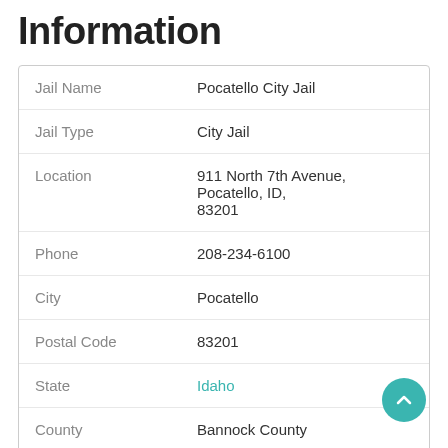Information
| Field | Value |
| --- | --- |
| Jail Name | Pocatello City Jail |
| Jail Type | City Jail |
| Location | 911 North 7th Avenue, Pocatello, ID, 83201 |
| Phone | 208-234-6100 |
| City | Pocatello |
| Postal Code | 83201 |
| State | Idaho |
| County | Bannock County |
| Jail Webpage | website |